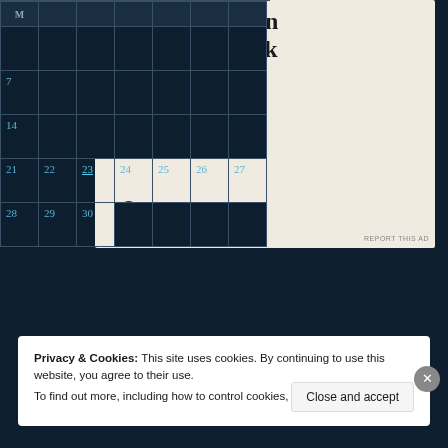[Figure (screenshot): Advertisement for WordPress: 'designed sites in less than a week' with Explore options button, WordPress logo, and website screenshots on beige background]
| M |  |  |  |  |  |  |
| --- | --- | --- | --- | --- | --- | --- |
|  |  |  |  |  |  |  |
| 7 |  |  |  |  |  |  |
| 14 |  |  |  |  |  |  |
| 21 | 22 | 23 | 24 | 25 | 26 | 27 |
| 28 | 29 | 30 |  |  |  |  |
« Oct          Dec »
Privacy & Cookies: This site uses cookies. By continuing to use this website, you agree to their use.
To find out more, including how to control cookies, see here: Cookie Policy
Close and accept